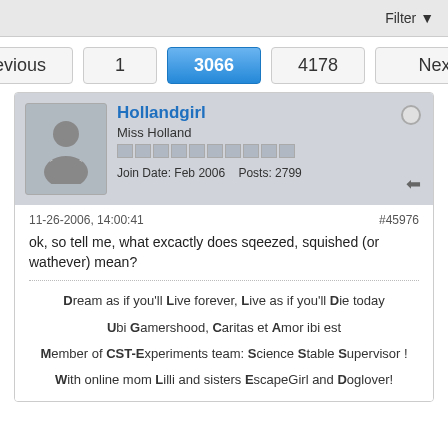Filter
Previous  1  3066  4178  Next
Hollandgirl
Miss Holland
Join Date: Feb 2006  Posts: 2799
11-26-2006, 14:00:41  #45976
ok, so tell me, what excactly does sqeezed, squished (or wathever) mean?
Dream as if you'll Live forever, Live as if you'll Die today
Ubi Gamershood, Caritas et Amor ibi est
Member of CST-Experiments team: Science Stable Supervisor !
With online mom Lilli and sisters EscapeGirl and Doglover!